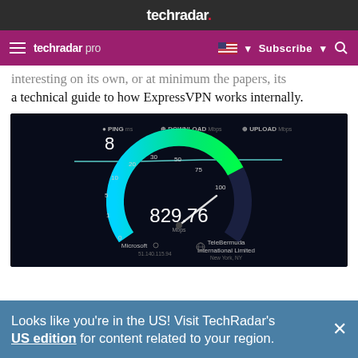techradar.
techradar pro  Subscribe
interesting on its own, as an minimum the papers, its a technical guide to how ExpressVPN works internally.
[Figure (screenshot): Internet speed test screenshot showing a speedometer gauge reading 829.76 Mbps download speed. The gauge arcs from blue (left) to green (right). Labels show PING ms = 8, DOWNLOAD Mbps, UPLOAD Mbps. Scale markings: 0, 1, 5, 10, 20, 30, 50, 75, 100. Server info: Microsoft / 51.140.115.94, TeleBermuda International Limited, New York, NY.]
Looks like you're in the US! Visit TechRadar's US edition for content related to your region.